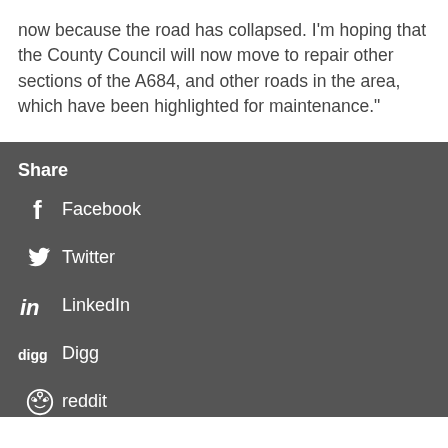now because the road has collapsed. I'm hoping that the County Council will now move to repair other sections of the A684, and other roads in the area, which have been highlighted for maintenance."
Share
Facebook
Twitter
LinkedIn
Digg
reddit